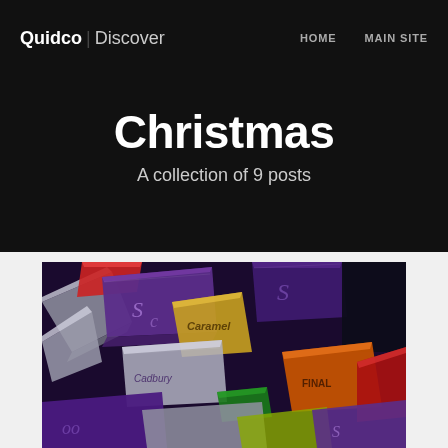Quidco | Discover   HOME   MAIN SITE
Christmas
A collection of 9 posts
[Figure (photo): Close-up photograph of colorful wrapped Christmas candy/chocolates including purple, silver, yellow, red, and orange foil wrappers. Cadbury Caramel and other branded chocolates visible.]